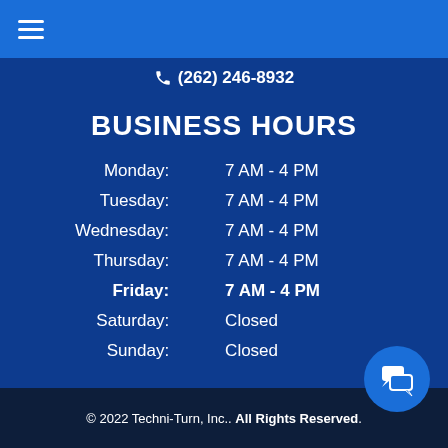☰
(262) 246-8932
BUSINESS HOURS
| Day | Hours |
| --- | --- |
| Monday: | 7 AM - 4 PM |
| Tuesday: | 7 AM - 4 PM |
| Wednesday: | 7 AM - 4 PM |
| Thursday: | 7 AM - 4 PM |
| Friday: | 7 AM - 4 PM |
| Saturday: | Closed |
| Sunday: | Closed |
© 2022 Techni-Turn, Inc.. All Rights Reserved.